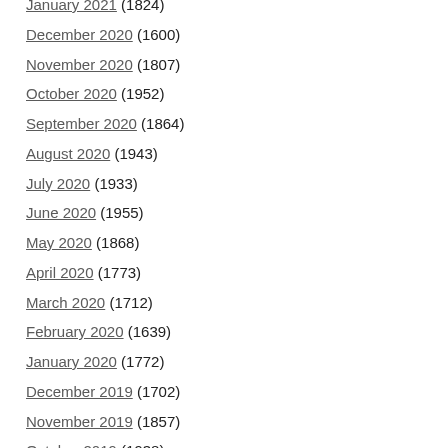January 2021 (1824)
December 2020 (1600)
November 2020 (1807)
October 2020 (1952)
September 2020 (1864)
August 2020 (1943)
July 2020 (1933)
June 2020 (1955)
May 2020 (1868)
April 2020 (1773)
March 2020 (1712)
February 2020 (1639)
January 2020 (1772)
December 2019 (1702)
November 2019 (1857)
October 2019 (1938)
September 2019 (1816)
August 2019 (1865)
July 2019 (1911)